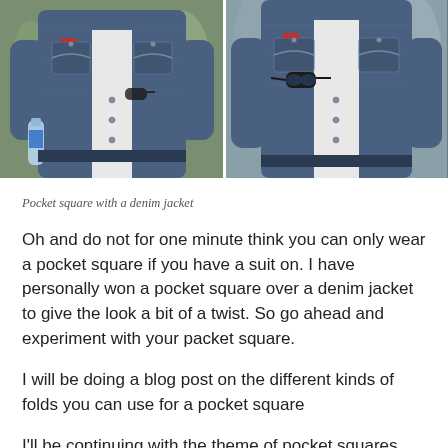[Figure (photo): Two side-by-side photos of a man wearing a denim jacket with a red pocket square. Left photo shows him holding a water bottle; right photo shows him with sunglasses clipped to the jacket.]
Pocket square with a denim jacket
Oh and do not for one minute think you can only wear a pocket square if you have a suit on. I have personally won a pocket square over a denim jacket to give the look a bit of a twist. So go ahead and experiment with your packet square.
I will be doing a blog post on the different kinds of folds you can use for a pocket square
I'll be continuing with the theme of pocket squares. Next time i'll be looking at the different folds such as the one point, two